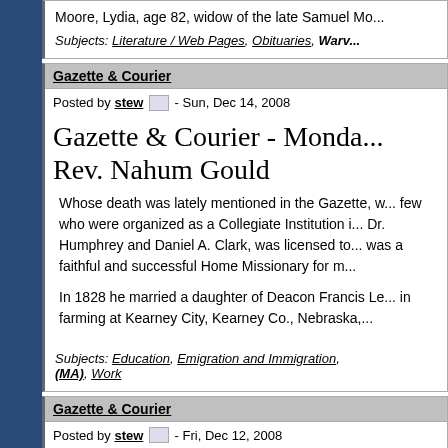Moore, Lydia, age 82, widow of the late Samuel Mo...
Subjects: Literature / Web Pages, Obituaries, Warv...
Gazette & Courier
Posted by stew - Sun, Dec 14, 2008
Gazette & Courier - Monda... Rev. Nahum Gould
Whose death was lately mentioned in the Gazette, w... few who were organized as a Collegiate Institution i... Dr. Humphrey and Daniel A. Clark, was licensed to... was a faithful and successful Home Missionary for m...
In 1828 he married a daughter of Deacon Francis Le... in farming at Kearney City, Kearney Co., Nebraska,...
Subjects: Education, Emigration and Immigration, ... (MA), Work
Gazette & Courier
Posted by stew - Fri, Dec 12, 2008